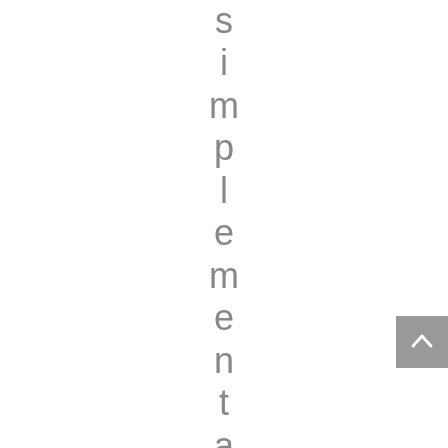simplementationofpol
[Figure (other): A scroll-to-top button (grey square with upward chevron arrow) positioned at the right edge of the page]